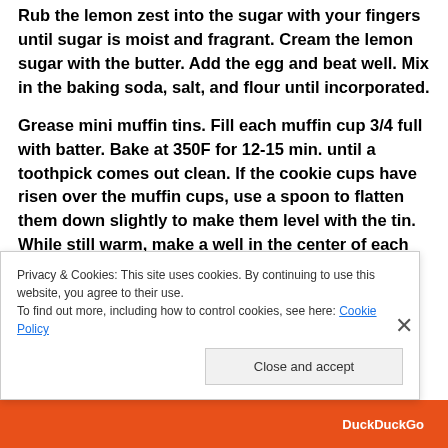Rub the lemon zest into the sugar with your fingers until sugar is moist and fragrant. Cream the lemon sugar with the butter. Add the egg and beat well. Mix in the baking soda, salt, and flour until incorporated.
Grease mini muffin tins. Fill each muffin cup 3/4 full with batter. Bake at 350F for 12-15 min. until a toothpick comes out clean. If the cookie cups have risen over the muffin cups, use a spoon to flatten them down slightly to make them level with the tin. While still warm, make a well in the center of each cookie cup with your finger or a small spoon. Chill the
Privacy & Cookies: This site uses cookies. By continuing to use this website, you agree to their use.
To find out more, including how to control cookies, see here: Cookie Policy
Close and accept
DuckDuckGo